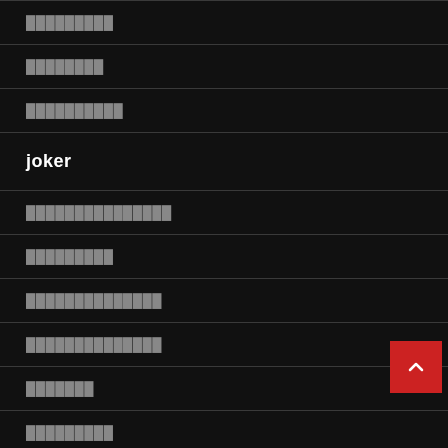█████████
████████
██████████
joker
███████████████
█████████
██████████████
██████████████
███████
█████████
█████████